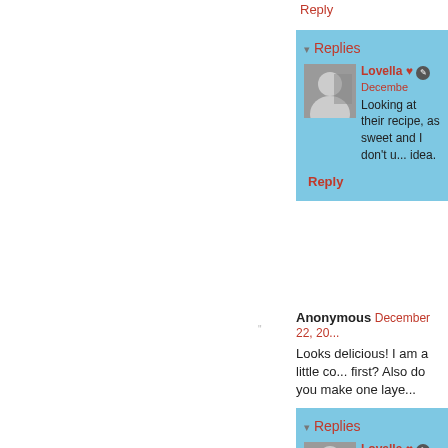Reply
▾ Replies
Lovella ♥ ✎ December ...
Looking at their recipe, as sweet and I don't u... idea.
Reply
Anonymous  December 22, 20...
Looks delicious! I am a little co... first? Also do you make one laye...
Reply
▾ Replies
Lovella ♥ ✎ Decembe...
I'm sorry it is so confus...